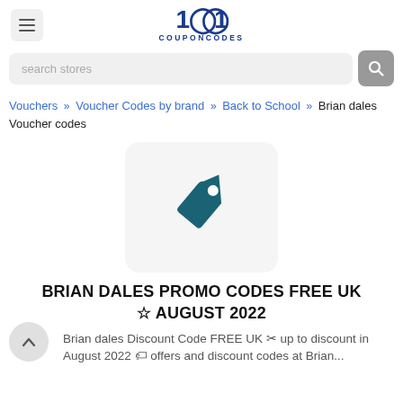1001 COUPONCODES
search stores
Vouchers » Voucher Codes by brand » Back to School » Brian dales Voucher codes
[Figure (logo): Price tag icon in teal on light gray rounded rectangle background — Brian Dales store logo placeholder]
BRIAN DALES PROMO CODES FREE UK ☆ AUGUST 2022
Brian dales Discount Code FREE UK ✂ up to discount in August 2022 🏷 offers and discount codes at Brian...